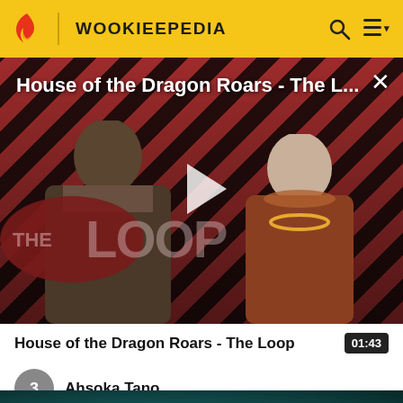WOOKIEEPEDIA
[Figure (screenshot): Video thumbnail for 'House of the Dragon Roars - The L...' showing two characters from House of the Dragon against a red diagonal stripe background with 'THE LOOP' logo and a play button in the center. A close (X) button is visible in the upper right.]
House of the Dragon Roars - The Loop
01:43
3  Ahsoka Tano
[Figure (screenshot): Bottom partial thumbnail of a dark teal/green video, showing a small glowing light in the center.]